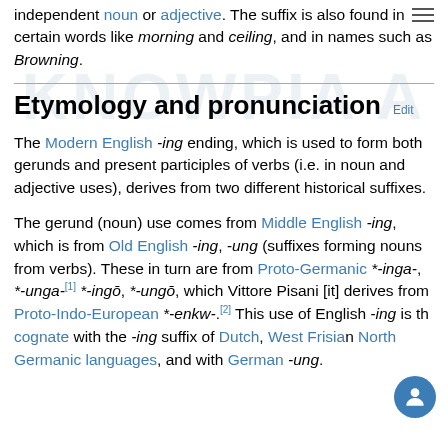independent noun or adjective. The suffix is also found in certain words like morning and ceiling, and in names such as Browning.
Etymology and pronunciation
The Modern English -ing ending, which is used to form both gerunds and present participles of verbs (i.e. in noun and adjective uses), derives from two different historical suffixes.
The gerund (noun) use comes from Middle English -ing, which is from Old English -ing, -ung (suffixes forming nouns from verbs). These in turn are from Proto-Germanic *-inga-, *-unga-,[1] *-ingō, *-ungō, which Vittore Pisani [it] derives from Proto-Indo-European *-enkw-.[2] This use of English -ing is the cognate with the -ing suffix of Dutch, West Frisian, North Germanic languages, and with German -ung.